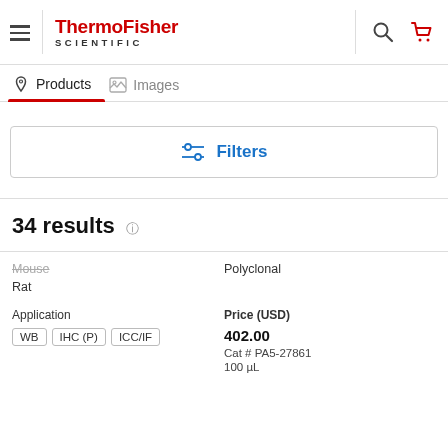[Figure (logo): ThermoFisher Scientific logo with hamburger menu, search icon, and cart icon in header]
Products   Images
[Figure (screenshot): Filters button with slider icon in blue]
34 results
Mouse
Rat
Polyclonal
Application
WB   IHC (P)   ICC/IF
Price (USD)
402.00
Cat # PA5-27861
100 µL